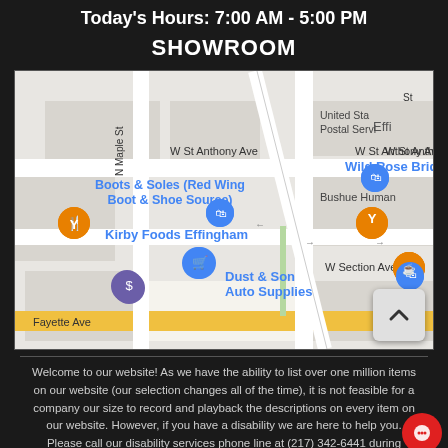Today's Hours: 7:00 AM - 5:00 PM
SHOWROOM
[Figure (map): Google Maps view showing area around Effingham, IL with landmarks: Boots & Soles (Red Wing Boot & Shoe Source), Kirby Foods Effingham, Gopher's Grill, Wild Rose Bridal, Dust & Son Auto Supplies, Bushue Human, Joe. Streets visible: W St Anthony Ave, N Maple St, S Banker St, W Section Ave, Fayette Ave.]
Welcome to our website! As we have the ability to list over one million items on our website (our selection changes all of the time), it is not feasible for a company our size to record and playback the descriptions on every item on our website. However, if you have a disability we are here to help you. Please call our disability services phone line at (217) 342-6441 during